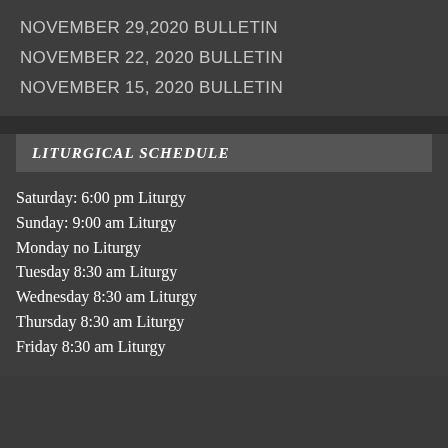NOVEMBER 29,2020 BULLETIN
NOVEMBER 22, 2020 BULLETIN
NOVEMBER 15, 2020 BULLETIN
LITURGICAL SCHEDULE
Saturday: 6:00 pm Liturgy
Sunday: 9:00 am Liturgy
Monday no Liturgy
Tuesday 8:30 am Liturgy
Wednesday 8:30 am Liturgy
Thursday 8:30 am Liturgy
Friday 8:30 am Liturgy